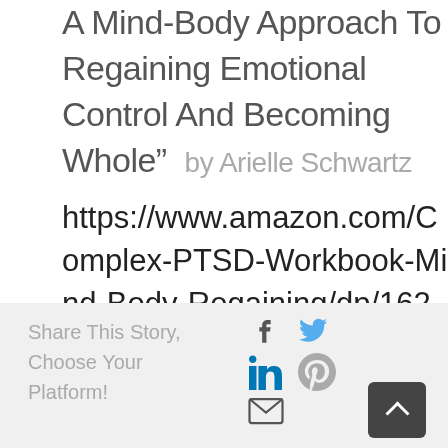A Mind-Body Approach To Regaining Emotional Control And Becoming Whole" by Arielle Schwartz
https://www.amazon.com/Complex-PTSD-Workbook-Mind-Body-Regaining/dp/1623158249
Share This Story, Choose Your Platform!